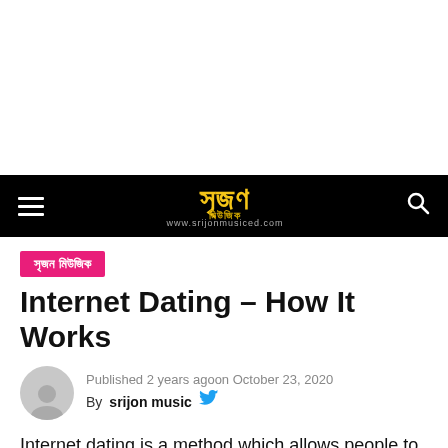[Figure (other): White advertisement/blank space at top of page]
সৃজন মিউজিক — www.srijonmusiced.com (navigation bar with hamburger menu and search icon)
সৃজন মিউজিক
Internet Dating – How It Works
Published 2 years agoon October 23, 2020
By srijon music
Internet dating is a method which allows people to add up and connect with prospective schedules over the Internet,